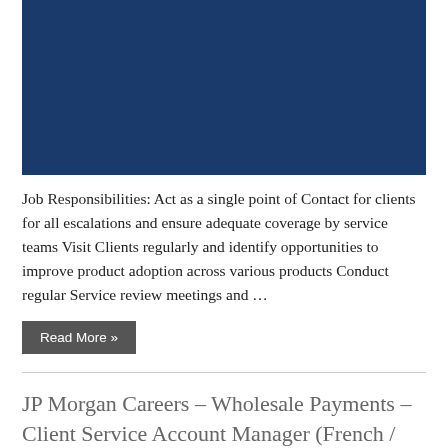[Figure (photo): Dark navy blue rectangular image at the top of the card]
Job Responsibilities: Act as a single point of Contact for clients for all escalations and ensure adequate coverage by service teams Visit Clients regularly and identify opportunities to improve product adoption across various products Conduct regular Service review meetings and …
Read More »
JP Morgan Careers – Wholesale Payments – Client Service Account Manager (French / English language) – Associate (Paris)
[Figure (photo): Dark navy blue rectangular image at the bottom of the second card]